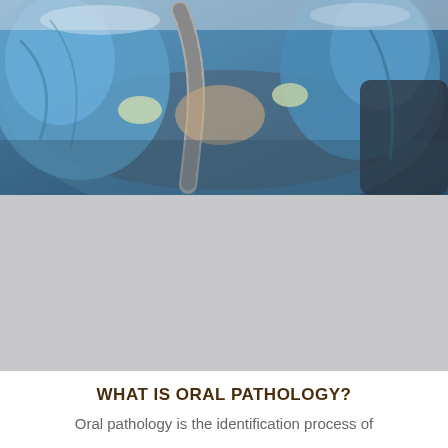[Figure (photo): Medical/surgical scene showing medical professionals in blue surgical gowns and gloves performing or assisting with a dental or oral procedure on a patient. Medical equipment including tubing is visible.]
WHAT IS ORAL PATHOLOGY?
Oral pathology is the identification process of